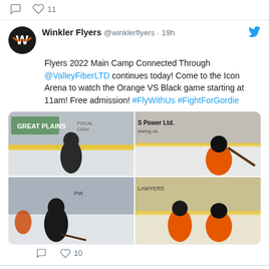11 likes (partial tweet top)
Winkler Flyers @winklerflyers · 19h
Flyers 2022 Main Camp Connected Through @ValleyFiberLTD continues today! Come to the Icon Arena to watch the Orange VS Black game starting at 11am! Free admission! #FlyWithUs #FightForGordie
[Figure (photo): Four hockey photos in a 2x2 grid showing players on ice during the Orange VS Black camp game at Icon Arena]
10 likes
Winkler Flyers @winklerflyers · Sep 5